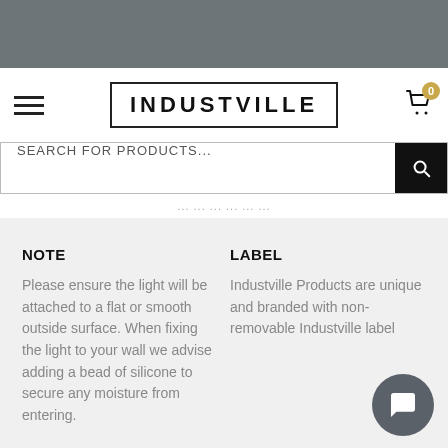INDUSTVILLE
SEARCH FOR PRODUCTS...
NOTE
Please ensure the light will be attached to a flat or smooth outside surface. When fixing the light to your wall we advise adding a bead of silicone to secure any moisture from entering.
LABEL
Industville Products are unique and branded with non-removable Industville label